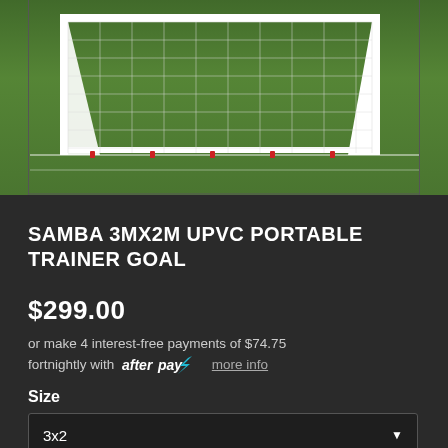[Figure (photo): White UPVC portable soccer/football goal with netting on a grass field with white field markings visible]
SAMBA 3MX2M UPVC PORTABLE TRAINER GOAL
$299.00
or make 4 interest-free payments of $74.75 fortnightly with afterpay more info
Size
3x2